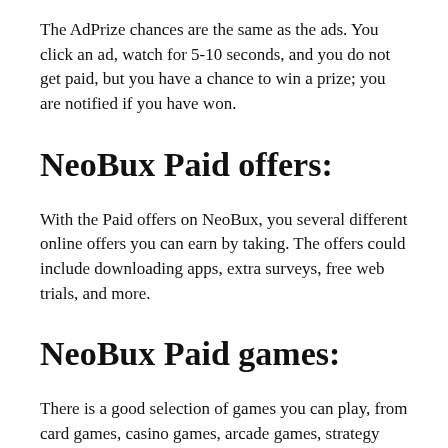The AdPrize chances are the same as the ads. You click an ad, watch for 5-10 seconds, and you do not get paid, but you have a chance to win a prize; you are notified if you have won.
NeoBux Paid offers:
With the Paid offers on NeoBux, you several different online offers you can earn by taking. The offers could include downloading apps, extra surveys, free web trials, and more.
NeoBux Paid games:
There is a good selection of games you can play, from card games, casino games, arcade games, strategy games, and more, and you can find some fun games to play.
You can also...